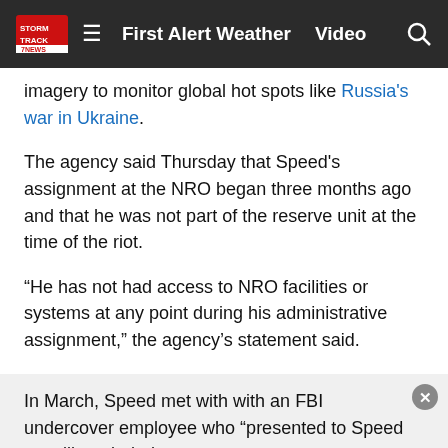First Alert Weather   Video
imagery to monitor global hot spots like Russia's war in Ukraine.
The agency said Thursday that Speed's assignment at the NRO began three months ago and that he was not part of the reserve unit at the time of the riot.
“He has not had access to NRO facilities or systems at any point during his administrative assignment,” the agency’s statement said.
Speed recently worked in Vienna, Virginia, as a software developer for Novetta Solutions LLC, a defense contractor that conducts advanced analytics for the Defense Department and other federal agencies, the FBI said.
In March, Speed met with with an FBI undercover employee who “presented to Speed as a like-minded